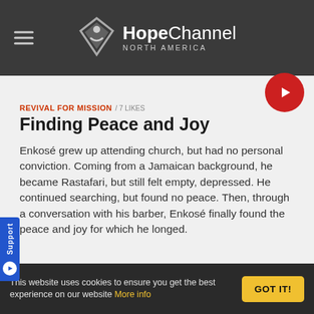Hope Channel North America
REVIVAL FOR MISSION / 7 LIKES
Finding Peace and Joy
Enkosé grew up attending church, but had no personal conviction. Coming from a Jamaican background, he became Rastafari, but still felt empty, depressed. He continued searching, but found no peace. Then, through a conversation with his barber, Enkosé finally found the peace and joy for which he longed.
This website uses cookies to ensure you get the best experience on our website More info GOT IT!